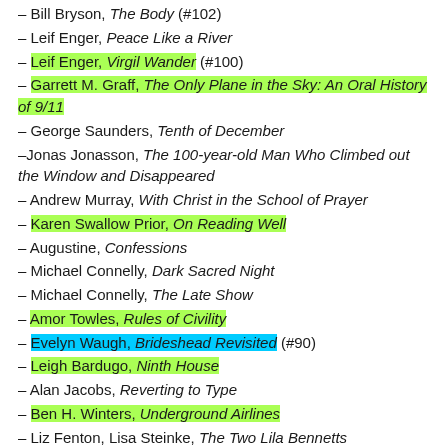Bill Bryson, The Body (#102)
Leif Enger, Peace Like a River
Leif Enger, Virgil Wander (#100)
Garrett M. Graff, The Only Plane in the Sky: An Oral History of 9/11
George Saunders, Tenth of December
Jonas Jonasson, The 100-year-old Man Who Climbed out the Window and Disappeared
Andrew Murray, With Christ in the School of Prayer
Karen Swallow Prior, On Reading Well
Augustine, Confessions
Michael Connelly, Dark Sacred Night
Michael Connelly, The Late Show
Amor Towles, Rules of Civility
Evelyn Waugh, Brideshead Revisited (#90)
Leigh Bardugo, Ninth House
Alan Jacobs, Reverting to Type
Ben H. Winters, Underground Airlines
Liz Fenton, Lisa Steinke, The Two Lila Bennetts